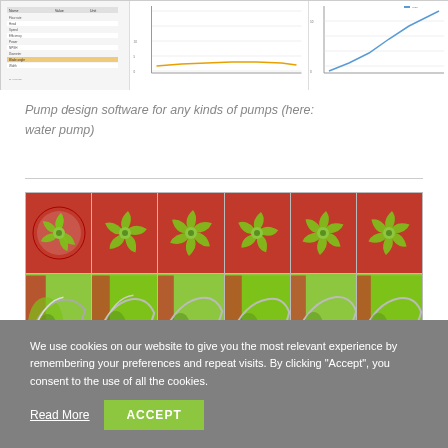[Figure (screenshot): Pump design software screenshots showing data tables and charts including a performance curve for a water pump]
Pump design software for any kinds of pumps (here: water pump)
[Figure (photo): Grid of pump impeller images showing three rows: top row with red background and green impeller icons, middle row with green/red/silver 3D impeller perspective views, bottom row with gray close-up blade views]
We use cookies on our website to give you the most relevant experience by remembering your preferences and repeat visits. By clicking "Accept", you consent to the use of all the cookies.